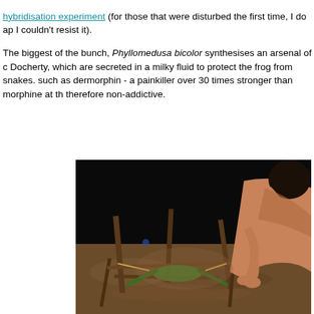hybridisation experiment (for those that were disturbed the first time, I do ap I couldn't resist it).
The biggest of the bunch, Phyllomedusa bicolor synthesises an arsenal of c Docherty, which are secreted in a milky fluid to protect the frog from snakes. such as dermorphin - a painkiller over 30 times stronger than morphine at th therefore non-addictive.
[Figure (photo): A person crouching over the ground at night, working with a frog (green) that is stretched out and tied to a wooden frame made of sticks, in what appears to be a ritual or scientific procedure. The scene is lit artificially against a dark background, with sandy/dirt ground visible.]